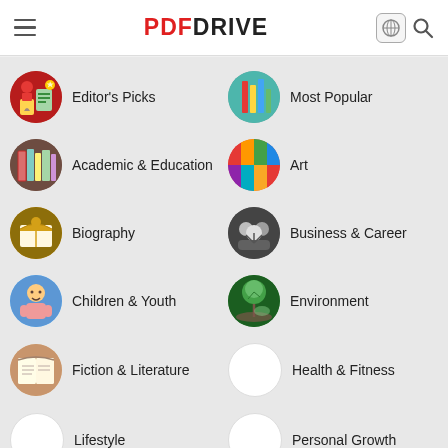PDF DRIVE
[Figure (screenshot): PDF Drive app category listing page showing 16 book categories in a two-column grid, each with a circular icon and label: Editor's Picks, Most Popular, Academic & Education, Art, Biography, Business & Career, Children & Youth, Environment, Fiction & Literature, Health & Fitness, Lifestyle, Personal Growth, Politics & Laws, Religion, Science & Research, Technology]
Editor's Picks
Most Popular
Academic & Education
Art
Biography
Business & Career
Children & Youth
Environment
Fiction & Literature
Health & Fitness
Lifestyle
Personal Growth
Politics & Laws
Religion
Science & Research
Technology